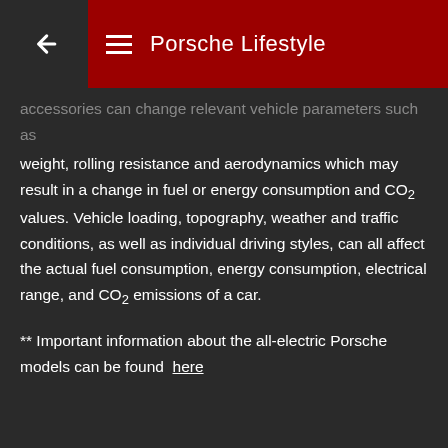Porsche Lifestyle
accessories can change relevant vehicle parameters such as weight, rolling resistance and aerodynamics which may result in a change in fuel or energy consumption and CO₂ values. Vehicle loading, topography, weather and traffic conditions, as well as individual driving styles, can all affect the actual fuel consumption, energy consumption, electrical range, and CO₂ emissions of a car.
** Important information about the all-electric Porsche models can be found here